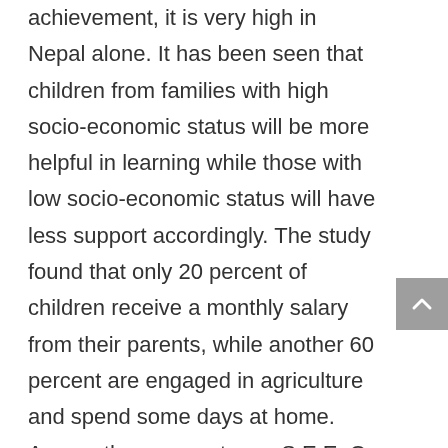achievement, it is very high in Nepal alone. It has been seen that children from families with high socio-economic status will be more helpful in learning while those with low socio-economic status will have less support accordingly. The study found that only 20 percent of children receive a monthly salary from their parents, while another 60 percent are engaged in agriculture and spend some days at home. Among these parents are S.E.E. Or 9 percent of fathers who study more than that, while the mother's qualification was found to be 8th grade or less. It was found that the number of students who do not have the capacity to support any kind of study at home is around 40 percent. Students who say their fathers are 7 percent illiterate and their mothers 18 percent illiterate say that it is difficult because there is no one to teach